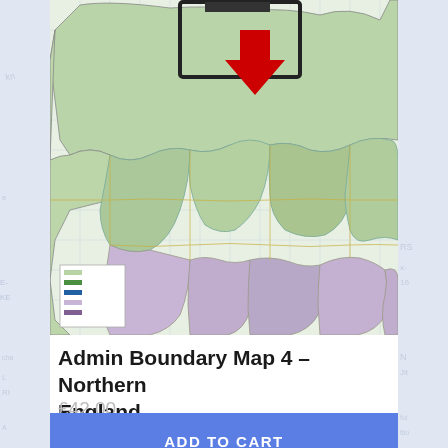[Figure (map): Admin Boundary Map 4 – Northern England showing county and district boundaries in green and purple shades with a red downward arrow and black rectangle overlay indicating a highlighted area. A small legend is visible in the bottom-left corner.]
Admin Boundary Map 4 – Northern England
£42.00
ADD TO CART